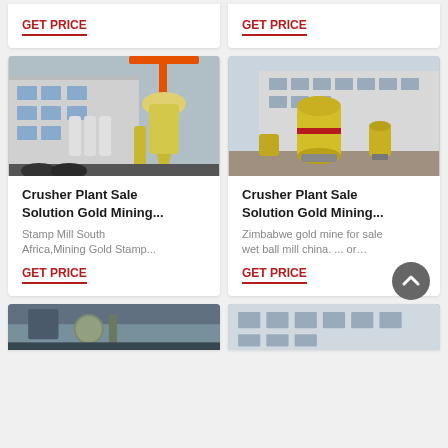GET PRICE
GET PRICE
[Figure (photo): Industrial crusher/mill equipment with yellow cyclone separator and orange crane in a factory yard]
Crusher Plant Sale Solution Gold Mining...
Stamp Mill South Africa,Mining Gold Stamp…
GET PRICE
[Figure (photo): Large yellow grinding mill machines in an outdoor industrial yard with factory building behind, MAERSK branding visible]
Crusher Plant Sale Solution Gold Mining...
Zimbabwe gold mine for sale wet ball mill china. ... or…
GET PRICE
[Figure (photo): Partial view of industrial equipment, bottom of page]
[Figure (photo): Partial view of industrial building with white facade, bottom of page]